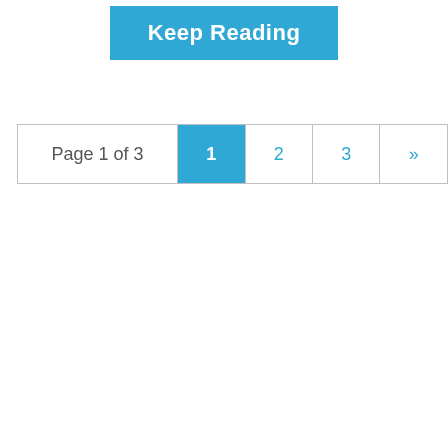Keep Reading
| Page 1 of 3 | 1 | 2 | 3 | » |